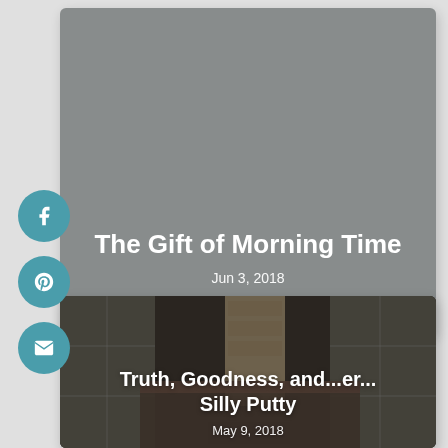[Figure (screenshot): Blog post card with gray background showing title 'The Gift of Morning Time' and date 'Jun 3, 2018']
The Gift of Morning Time
Jun 3, 2018
[Figure (screenshot): Blog post card with dark living room photo background showing title 'Truth, Goodness, and...er... Silly Putty' and date 'May 9, 2018']
Truth, Goodness, and...er... Silly Putty
May 9, 2018